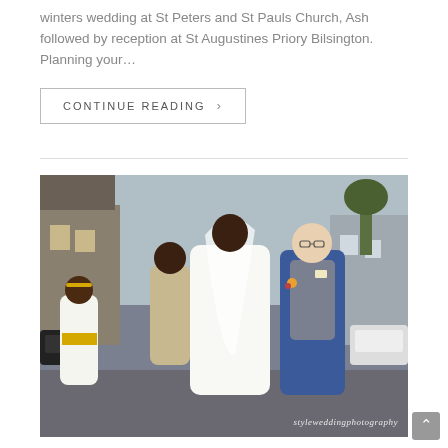winters wedding at St Peters and St Pauls Church, Ash followed by reception at St Augustines Priory Bilsington. Planning your…
CONTINUE READING ›
[Figure (photo): Wedding photo showing a bride in a white strapless gown with veil, a groom in a blue suit with boutonniere, a bridesmaid in a champagne dress, and a flower girl in white dress with yellow sash, all walking on a street. Watermark reads styleweddingphotography.]